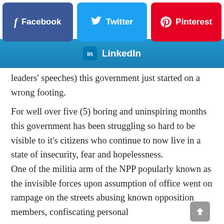[Figure (screenshot): Social share buttons row: Facebook (blue-purple), Twitter (blue), Pinterest (red)]
[Figure (screenshot): LinkedIn share button bar (gradient blue)]
leaders' speeches) this government just started on a wrong footing.
For well over five (5) boring and uninspiring months this government has been struggling so hard to be visible to it's citizens who continue to now live in a state of insecurity, fear and hopelessness. One of the militia arm of the NPP popularly known as the invisible forces upon assumption of office went on rampage on the streets abusing known opposition members, confiscating personal